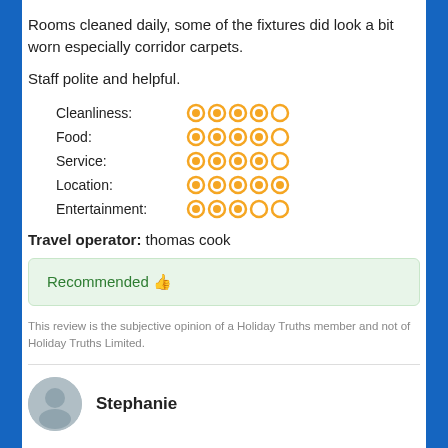Rooms cleaned daily, some of the fixtures did look a bit worn especially corridor carpets.
Staff polite and helpful.
| Category | Rating |
| --- | --- |
| Cleanliness: | 4/5 |
| Food: | 4/5 |
| Service: | 4/5 |
| Location: | 5/5 |
| Entertainment: | 3/5 |
Travel operator: thomas cook
Recommended 👍
This review is the subjective opinion of a Holiday Truths member and not of Holiday Truths Limited.
[Figure (illustration): Grey circular avatar placeholder for reviewer Stephanie]
Stephanie